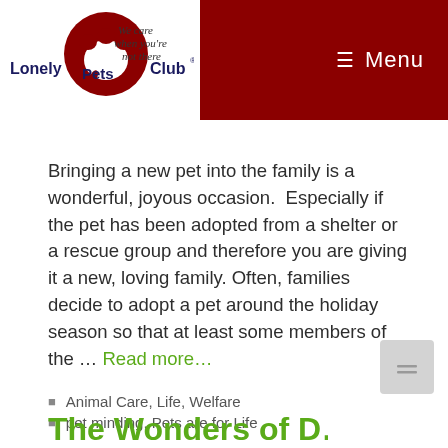Lonely Pets Club — We care when you're not there | Menu
Bringing a new pet into the family is a wonderful, joyous occasion.  Especially if the pet has been adopted from a shelter or a rescue group and therefore you are giving it a new, loving family. Often, families decide to adopt a pet around the holiday season so that at least some members of the … Read more…
Animal Care, Life, Welfare
pet minding, Pets are for Life
The Wonders of D…